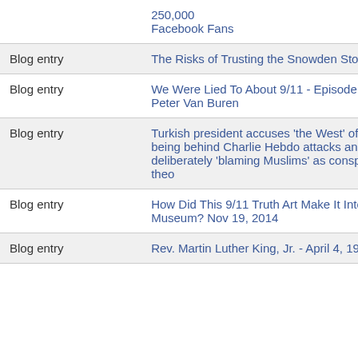| Type | Title | Author | Num | Date |
| --- | --- | --- | --- | --- |
|  | 250,000 Facebook Fans |  |  |  |
| Blog entry | The Risks of Trusting the Snowden Story | Orangutan. | 37 | 2 |
| Blog entry | We Were Lied To About 9/11 - Episode 17 - Peter Van Buren | Jon Gold |  | 2 |
| Blog entry | Turkish president accuses 'the West' of being behind Charlie Hebdo attacks and deliberately 'blaming Muslims' as conspiracy theo | Joe | 2 | 2 |
| Blog entry | How Did This 9/11 Truth Art Make It Into The Museum? Nov 19, 2014 | Joe | 15 | 2 |
| Blog entry | Rev. Martin Luther King, Jr. - April 4, 1967 - | Joe |  | 2 |
Super Bowl XLVIII to address the nation on 9/11
Getting Real About Richard Clarke
Target the President Evidence of U.S. Government Training Exercises on